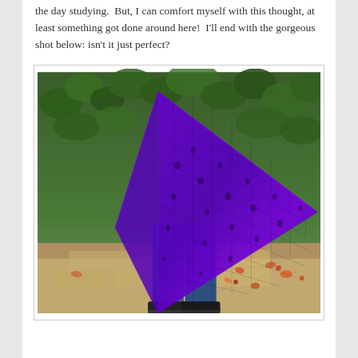the day studying.  But, I can comfort myself with this thought, at least something got done around here!  I'll end with the gorgeous shot below: isn't it just perfect?
[Figure (photo): A person wearing blue jeans and black boots, draped in a large triangular purple lace knitted shawl, standing on a stone path surrounded by green ivy and fallen autumn leaves.]